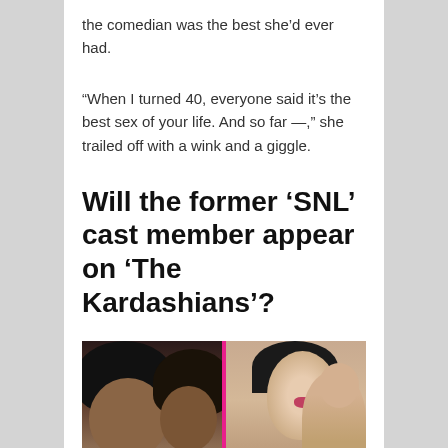the comedian was the best she’d ever had.
“When I turned 40, everyone said it’s the best sex of your life. And so far —,” she trailed off with a wink and a giggle.
Will the former ‘SNL’ cast member appear on ‘The Kardashians’?
[Figure (photo): Split photo showing two women on the left side and Kim Kardashian with a baby on the right side, separated by a pink vertical divider line]